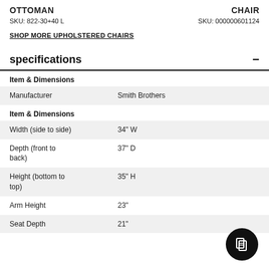OTTOMAN
SKU: 822-30+40 L
CHAIR
SKU: 000000601124
SHOP MORE UPHOLSTERED CHAIRS
specifications
Item & Dimensions
| Manufacturer | Smith Brothers |
Item & Dimensions
| Width (side to side) | 34" W |
| Depth (front to back) | 37" D |
| Height (bottom to top) | 35" H |
| Arm Height | 23" |
| Seat Depth | 21" |